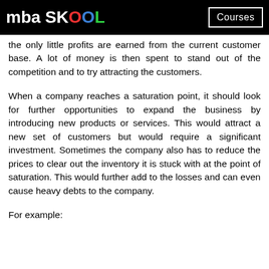mba SKOOL | Courses
the only little profits are earned from the current customer base. A lot of money is then spent to stand out of the competition and to try attracting the customers.
When a company reaches a saturation point, it should look for further opportunities to expand the business by introducing new products or services. This would attract a new set of customers but would require a significant investment. Sometimes the company also has to reduce the prices to clear out the inventory it is stuck with at the point of saturation. This would further add to the losses and can even cause heavy debts to the company.
For example: